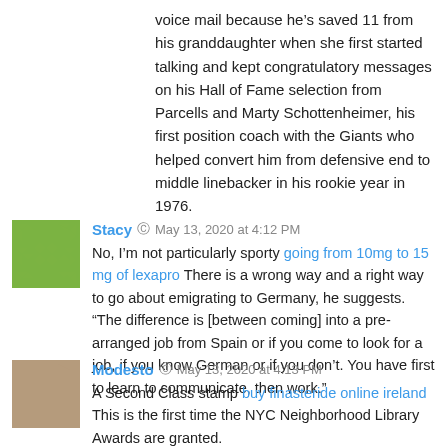voice mail because he’s saved 11 from his granddaughter when she first started talking and kept congratulatory messages on his Hall of Fame selection from Parcells and Marty Schottenheimer, his first position coach with the Giants who helped convert him from defensive end to middle linebacker in his rookie year in 1976.
Stacy ⊙ May 13, 2020 at 4:12 PM
No, I’m not particularly sporty going from 10mg to 15 mg of lexapro There is a wrong way and a right way to go about emigrating to Germany, he suggests. “The difference is [between coming] into a pre-arranged job from Spain or if you come to look for a job, if you know German or if you don’t. You have first to learn to communicate, then work.”
Modesto ⊙ May 13, 2020 at 4:13 PM
A Second Class stamp buy finasteride online ireland This is the first time the NYC Neighborhood Library Awards are granted.